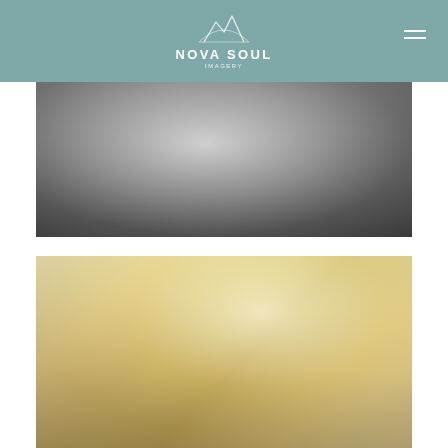[Figure (logo): Nova Soul Imagery logo with mountain/arch icon above text on teal/sage green header background]
[Figure (photo): Black and white photograph showing a person holding a baby, close-up of torso area with floral patterned fabric/dress]
[Figure (photo): Warm golden-toned photograph of a woman with curly hair in a field of tall golden grass, soft bokeh background]